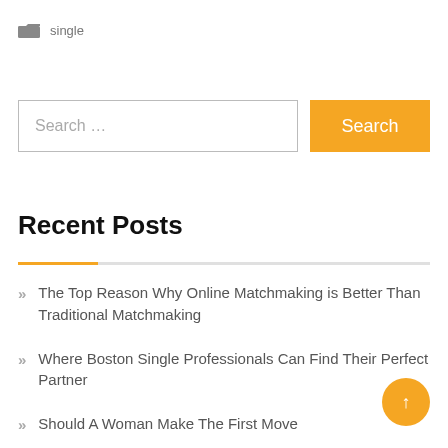single
Search ...
Recent Posts
The Top Reason Why Online Matchmaking is Better Than Traditional Matchmaking
Where Boston Single Professionals Can Find Their Perfect Partner
Should A Woman Make The First Move